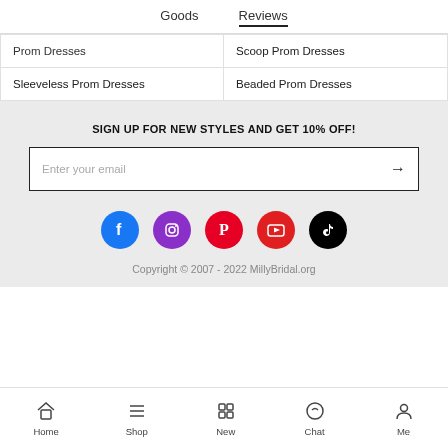Goods   Reviews
Prom Dresses
Scoop Prom Dresses
Sleeveless Prom Dresses
Beaded Prom Dresses
SIGN UP FOR NEW STYLES AND GET 10% OFF!
Enter your email
[Figure (infographic): Social media icons: Facebook, Instagram, Pinterest, YouTube, TikTok]
Copyright © 2007 - 2022 MillyBridal.org
Home   Shop   New   Chat   Me